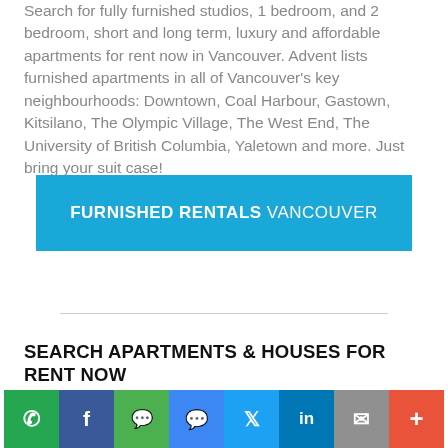Search for fully furnished studios, 1 bedroom, and 2 bedroom, short and long term, luxury and affordable apartments for rent now in Vancouver. Advent lists furnished apartments in all of Vancouver's key neighbourhoods: Downtown, Coal Harbour, Gastown, Kitsilano, The Olympic Village, The West End, The University of British Columbia, Yaletown and more. Just bring your suit case!
FURNISHED RENTALS VANCOUVER
SEARCH APARTMENTS & HOUSES FOR RENT NOW BY CITY